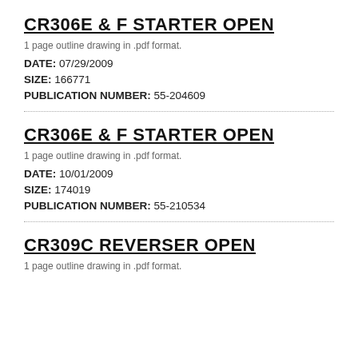CR306E & F STARTER OPEN
1 page outline drawing in .pdf format.
DATE: 07/29/2009
SIZE: 166771
PUBLICATION NUMBER: 55-204609
CR306E & F STARTER OPEN
1 page outline drawing in .pdf format.
DATE: 10/01/2009
SIZE: 174019
PUBLICATION NUMBER: 55-210534
CR309C REVERSER OPEN
1 page outline drawing in .pdf format.